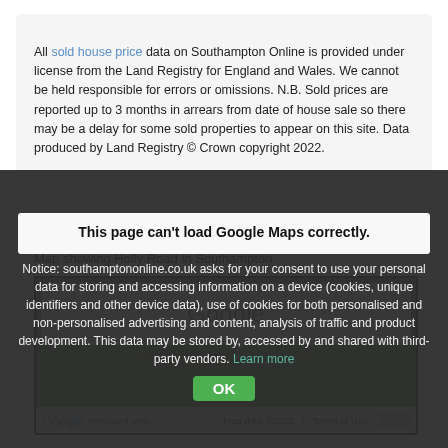All sold house price data on Southampton Online is provided under license from the Land Registry for England and Wales. We cannot be held responsible for errors or omissions. N.B. Sold prices are reported up to 3 months in arrears from date of house sale so there may be a delay for some sold properties to appear on this site. Data produced by Land Registry © Crown copyright 2022.
Holly Road
Map showing Holly Road in Southampton.
[Figure (map): Google Maps embed showing Holly Road in Southampton, with a cookie consent overlay. The map cannot load and shows a 'This page can't load Google Maps correctly.' error with a consent notice and OK button.]